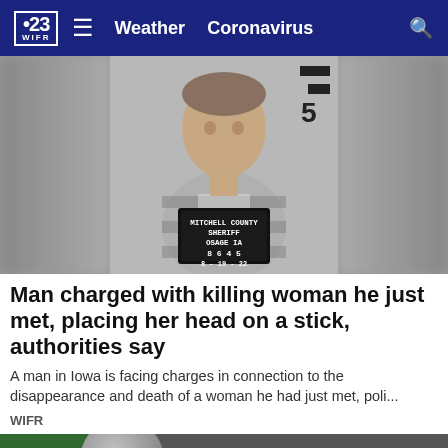23 WIFR  ≡  Weather  Coronavirus  🔍
[Figure (photo): Mugshot of a man in a striped jail uniform holding a Mitchell County Sheriff Osage IA booking sign reading 8645 and 8-19-22, against a height marker wall]
Man charged with killing woman he just met, placing her head on a stick, authorities say
A man in Iowa is facing charges in connection to the disappearance and death of a woman he had just met,  poli...
WIFR
[Figure (photo): Partial bottom image showing a gray helmet or round object against green and dark background, with a close/X button in lower right]